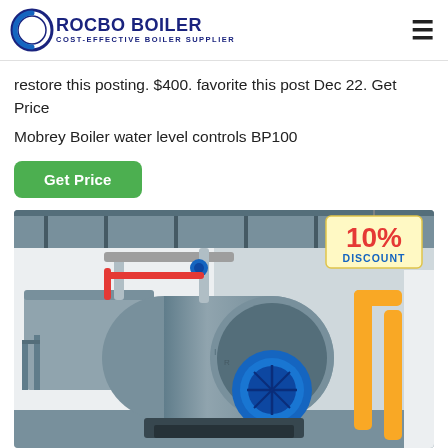ROCBO BOILER — COST-EFFECTIVE BOILER SUPPLIER
restore this posting. $400. favorite this post Dec 22. Get Price Mobrey Boiler water level controls BP100
[Figure (other): Get Price green button]
[Figure (photo): Industrial boiler in a factory setting with a 10% DISCOUNT badge overlay. Large horizontal steel boiler tank with blue burner assembly, pipes, yellow gas lines on the right, overhead piping and metal structure visible.]